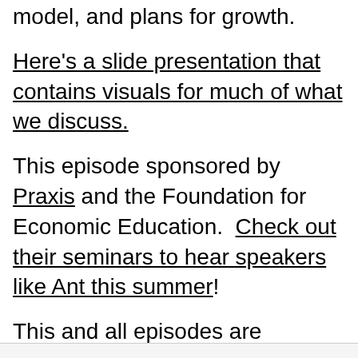model, and plans for growth.
Here's a slide presentation that contains visuals for much of what we discuss.
This episode sponsored by Praxis and the Foundation for Economic Education. Check out their seminars to hear speakers like Ant this summer!
This and all episodes are available on SoundCloud, iTunes, YouTube, and Stitcher.